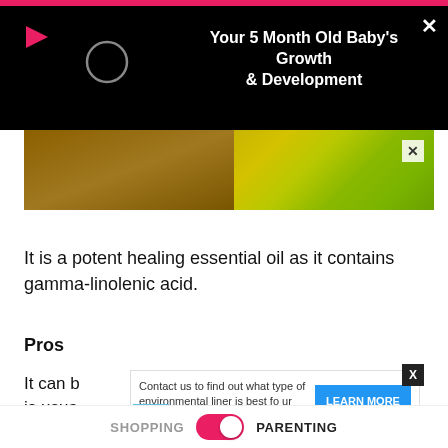[Figure (screenshot): Video player overlay bar on black background showing play button triangle icon, circular spinner/loading indicator, title 'Your 5 Month Old Baby's Growth & Development', and X close button. Below is a partial photo showing yellow flowers on a wooden surface.]
It is a potent healing essential oil as it contains gamma-linolenic acid.
Pros
It can b[obscured by ad] which is usua[obscured by ad]r
[Figure (screenshot): Advertisement overlay: 'Contact us to find out what type of environmental liner is best fo ur application.' with blue LEARN MORE button. Small X and play icons at bottom left. Separate X button in black box top right.]
SHOPPING   [toggle]   PARENTING